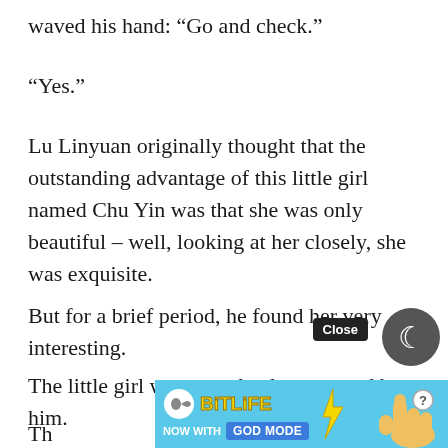waved his hand: “Go and check.”
“Yes.”
Lu Linyuan originally thought that the outstanding advantage of this little girl named Chu Yin was that she was only beautiful – well, looking at her closely, she was exquisite.
But for a brief period, he found her very interesting.
The little girl was completely unmoved by him.
Th
[Figure (screenshot): BitLife advertisement banner with 'NOW WITH GOD MODE' text, blue background, finger pointing graphic, Close button, and moon/night mode button]